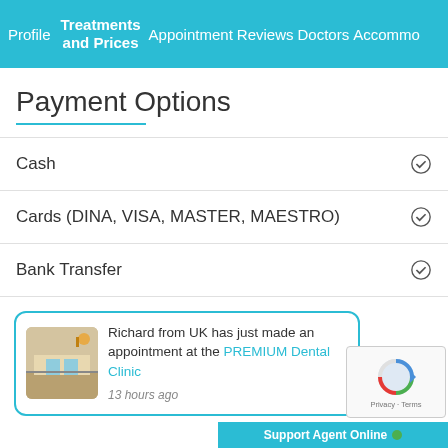Profile  Treatments and Prices  Appointment  Reviews  Doctors  Accommo...
Payment Options
Cash
Cards (DINA, VISA, MASTER, MAESTRO)
Bank Transfer
Richard from UK has just made an appointment at the PREMIUM Dental Clinic
13 hours ago